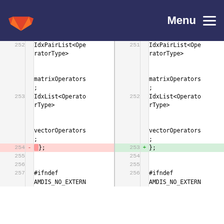GitLab logo / Menu
| Line L | Marker | Code L | Line R | Marker | Code R |
| --- | --- | --- | --- | --- | --- |
| 252 |  | IdxPairList<OperatorType>



matrixOperators
; | 251 |  | IdxPairList<OperatorType>



matrixOperators
; |
| 253 |  | IdxList<OperatorType>



vectorOperators
; | 252 |  | IdxList<OperatorType>



vectorOperators
; |
| 254 | - | }; | 253 | + | }; |
| 255 |  |  | 254 |  |  |
| 256 |  |  | 255 |  |  |
| 257 |  | #ifndef
AMDIS_NO_EXTERN | 256 |  | #ifndef
AMDIS_NO_EXTERN |